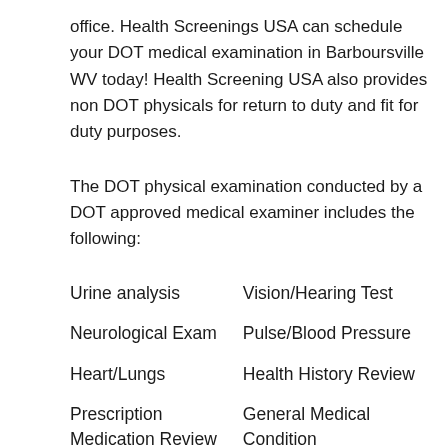office. Health Screenings USA can schedule your DOT medical examination in Barboursville WV today! Health Screening USA also provides non DOT physicals for return to duty and fit for duty purposes.
The DOT physical examination conducted by a DOT approved medical examiner includes the following:
Urine analysis
Vision/Hearing Test
Neurological Exam
Pulse/Blood Pressure
Heart/Lungs
Health History Review
Prescription Medication Review
General Medical Condition